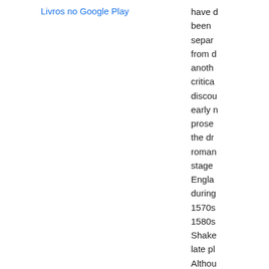Livros no Google Play
have been separated from another critical discourse early prose the drama romance staged England during 1570s 1580s Shakespeare late plays Although Pericles Cymbeline Winter's and T